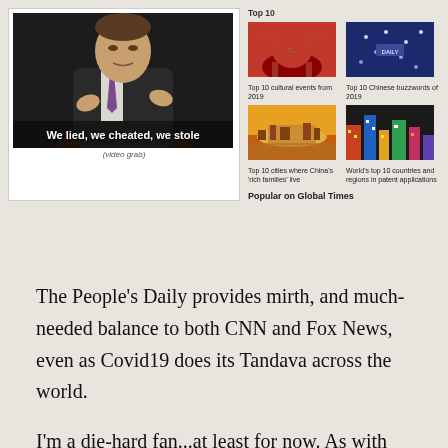[Figure (screenshot): Video grab of a man in a suit with text overlay reading 'We lied, we cheated, we stole']
(video grab)
[Figure (screenshot): Sidebar with Top 10 thumbnails: 'Top 10 cultural events from 2019', 'Top 10 Chinese buzzwords of 2019', 'Top 10 cities where China's 'rich families' live', 'World's top 10 countries and regions in patent applications'. Section label: 'Popular on Global Times']
The People’s Daily provides mirth, and much-needed balance to both CNN and Fox News, even as Covid19 does its Tandava across the world.
I’m a die-hard fan...at least for now. As with Covid19, a fortnight’s usually the maximum time